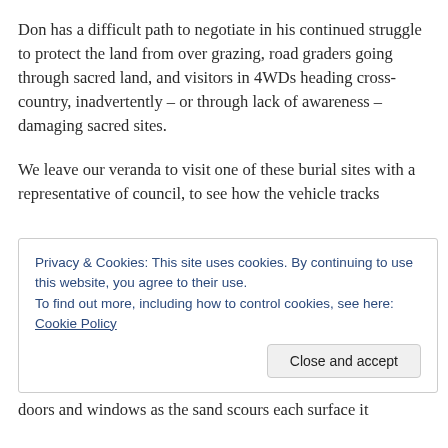Don has a difficult path to negotiate in his continued struggle to protect the land from over grazing, road graders going through sacred land, and visitors in 4WDs heading cross-country, inadvertently – or through lack of awareness – damaging sacred sites.
We leave our veranda to visit one of these burial sites with a representative of council, to see how the vehicle tracks
Privacy & Cookies: This site uses cookies. By continuing to use this website, you agree to their use.
To find out more, including how to control cookies, see here: Cookie Policy
doors and windows as the sand scours each surface it